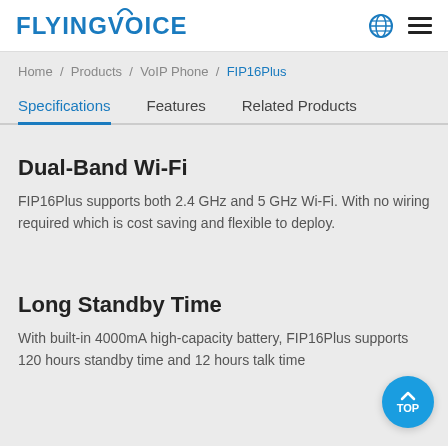FLYINGVOICE
Home / Products / VoIP Phone / FIP16Plus
Specifications  Features  Related Products
Dual-Band Wi-Fi
FIP16Plus supports both 2.4 GHz and 5 GHz Wi-Fi. With no wiring required which is cost saving and flexible to deploy.
Long Standby Time
With built-in 4000mA high-capacity battery, FIP16Plus supports 120 hours standby time and 12 hours talk time